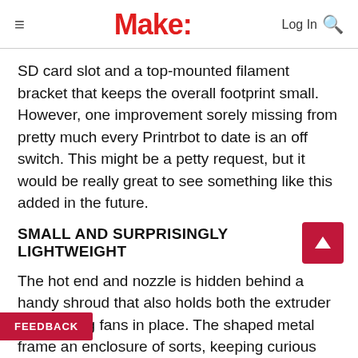Make:
SD card slot and a top-mounted filament bracket that keeps the overall footprint small. However, one improvement sorely missing from pretty much every Printrbot to date is an off switch. This might be a petty request, but it would be really great to see something like this added in the future.
SMALL AND SURPRISINGLY LIGHTWEIGHT
The hot end and nozzle is hidden behind a handy shroud that also holds both the extruder and cooling fans in place. The shaped metal frame an enclosure of sorts, keeping curious fingers away from the majority of the spinning,